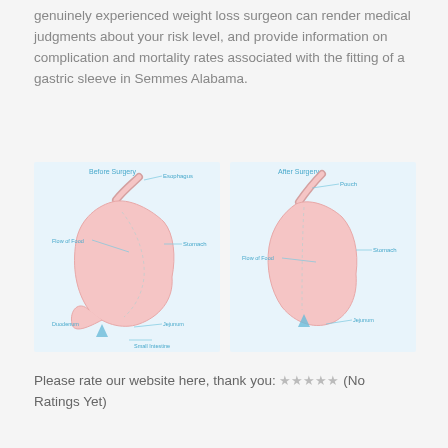genuinely experienced weight loss surgeon can render medical judgments about your risk level, and provide information on complication and mortality rates associated with the fitting of a gastric sleeve in Semmes Alabama.
[Figure (illustration): Two side-by-side medical diagrams showing digestive anatomy before and after gastric sleeve surgery. Left diagram labeled 'Before Surgery' shows Esophagus, Stomach, Flow of Food, Duodenum, Jejunum, and Small Intestine with a pink stomach illustration. Right diagram labeled 'After Surgery' shows the modified anatomy with Pouch, Stomach, Flow of Food, and Jejunum labels, illustrating the smaller stomach pouch created by the surgery.]
Please rate our website here, thank you: ★★★★★ (No Ratings Yet)